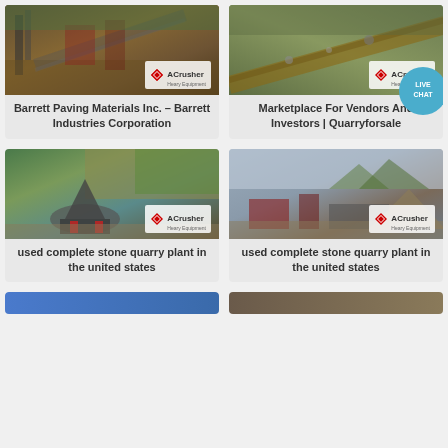[Figure (photo): Industrial quarry/crusher machinery with conveyor belts, ACrusher logo watermark. Top-left card image.]
Barrett Paving Materials Inc. – Barrett Industries Corporation
[Figure (photo): Industrial quarry conveyor belt aerial view, ACrusher logo watermark, Live Chat bubble overlay. Top-right card image.]
Marketplace For Vendors And Investors | Quarryforsale
[Figure (photo): Stone crusher cone machine near river, ACrusher logo watermark. Middle-left card image.]
used complete stone quarry plant in the united states
[Figure (photo): Open-air stone quarry processing plant, ACrusher logo watermark. Middle-right card image.]
used complete stone quarry plant in the united states
[Figure (photo): Partial view of another quarry image at bottom of page, cut off.]
[Figure (photo): Partial view of another quarry image at bottom of page, cut off.]